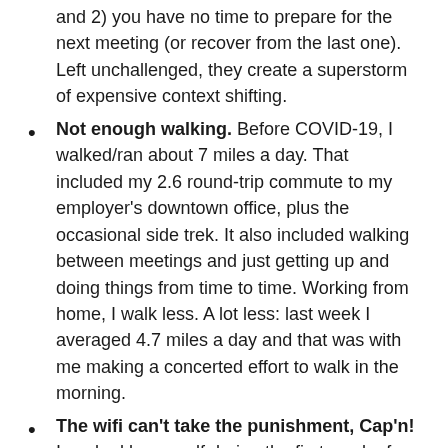and 2) you have no time to prepare for the next meeting (or recover from the last one). Left unchallenged, they create a superstorm of expensive context shifting.
Not enough walking. Before COVID-19, I walked/ran about 7 miles a day. That included my 2.6 round-trip commute to my employer's downtown office, plus the occasional side trek. It also included walking between meetings and just getting up and doing things from time to time. Working from home, I walk less. A lot less: last week I averaged 4.7 miles a day and that was with me making a concerted effort to walk in the morning.
The wifi can't take the punishment, Cap'n! I worked by myself during the first week of the COVID-19 shutdown. The kids were off from school and occasionally playing video games, but I was the only one video conferencing. The second week, my wife joined, working from home, and the wifi…